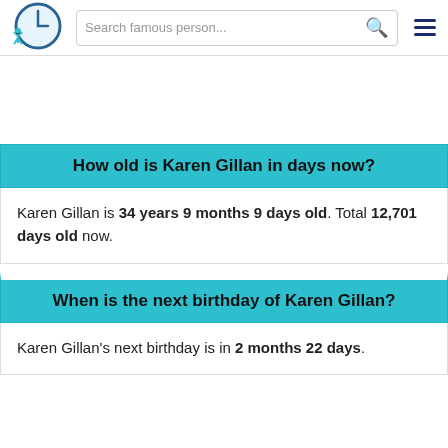Search famous person...
How old is Karen Gillan in days now?
Karen Gillan is 34 years 9 months 9 days old. Total 12,701 days old now.
When is the next birthday of Karen Gillan?
Karen Gillan's next birthday is in 2 months 22 days.